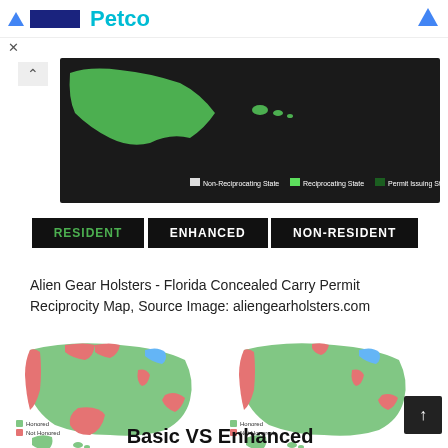[Figure (map): Alien Gear Holsters Florida Concealed Carry Permit Reciprocity Map showing top portion with Alaska highlighted in green on black background, with legend for Non-Reciprocating State, Reciprocating State, and Permit Issuing State]
[Figure (infographic): Three buttons on black backgrounds labeled: RESIDENT (green text), ENHANCED (white text), NON-RESIDENT (white text)]
Alien Gear Holsters - Florida Concealed Carry Permit Reciprocity Map, Source Image: aliengearholsters.com
[Figure (map): Two side-by-side US maps showing Basic vs Enhanced concealed carry permit reciprocity. States colored green (Honored) or red (Not Honored) with some blue states. Left map is Basic, right map is Enhanced.]
Basic VS Enhanced